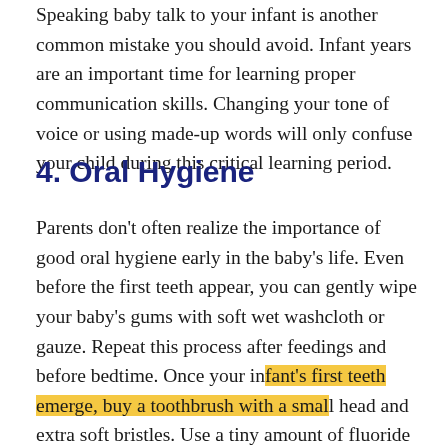Speaking baby talk to your infant is another common mistake you should avoid. Infant years are an important time for learning proper communication skills. Changing your tone of voice or using made-up words will only confuse your child during this critical learning period.
4. Oral Hygiene
Parents don't often realize the importance of good oral hygiene early in the baby's life. Even before the first teeth appear, you can gently wipe your baby's gums with soft wet washcloth or gauze. Repeat this process after feedings and before bedtime. Once your infant's first teeth emerge, buy a toothbrush with a small head and extra soft bristles. Use a tiny amount of fluoride